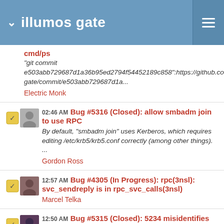illumos gate
cmd/ps
"git commit e503abb729687d1a36b95ed2794f54452189c858":https://github.co gate/commit/e503abb729687d1a...
Electric Monk
02:46 AM Bug #5316 (Closed): allow smbadm join to use RPC
By default, "smbadm join" uses Kerberos, which requires editing /etc/krb5/krb5.conf correctly (among other things). ...
Gordon Ross
12:57 AM Bug #4305 (In Progress): rpc(3nsl): svc_sendreply is in rpc_svc_calls(3nsl)
Marcel Telka
12:50 AM Bug #5315 (Closed): 5234 misidentifies cases we need to replace representative lwp
"git commit